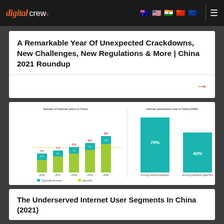digital crew. [navigation flags and menu]
A Remarkable Year Of Unexpected Crackdowns, New Challenges, New Regulations & More | China 2021 Roundup
[Figure (grouped-bar-chart): Bar chart showing number of internet users in China 2016-2020 with total and aged 60+ series; plus internet penetration rate in China 2020 showing among overall population and among population aged 60+]
The Underserved Internet User Segments In China (2021)